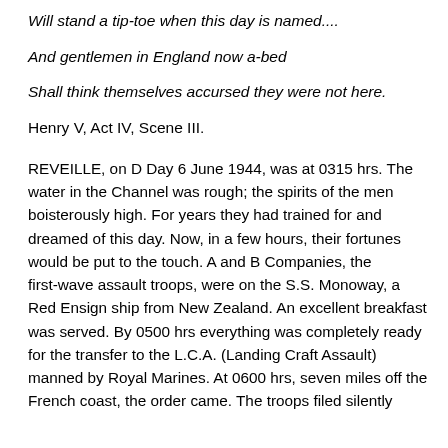Will stand a tip-toe when this day is named....
And gentlemen in England now a-bed
Shall think themselves accursed they were not here.
Henry V, Act IV, Scene III.
REVEILLE, on D Day 6 June 1944, was at 0315 hrs. The water in the Channel was rough; the spirits of the men boisterously high. For years they had trained for and dreamed of this day. Now, in a few hours, their fortunes would be put to the touch. A and B Companies, the first-wave assault troops, were on the S.S. Monoway, a Red Ensign ship from New Zealand. An excellent breakfast was served. By 0500 hrs everything was completely ready for the transfer to the L.C.A. (Landing Craft Assault) manned by Royal Marines. At 0600 hrs, seven miles off the French coast, the order came. The troops filed silently